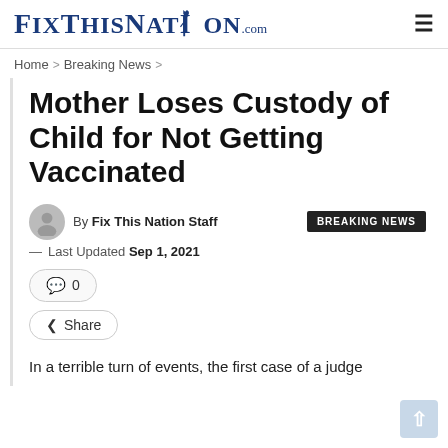FixThisNation.com
Home > Breaking News >
Mother Loses Custody of Child for Not Getting Vaccinated
By Fix This Nation Staff
BREAKING NEWS
— Last Updated Sep 1, 2021
0
Share
In a terrible turn of events, the first case of a judge